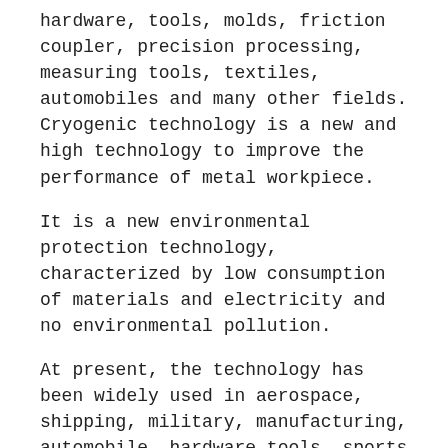hardware, tools, molds, friction coupler, precision processing, measuring tools, textiles, automobiles and many other fields. Cryogenic technology is a new and high technology to improve the performance of metal workpiece.
It is a new environmental protection technology, characterized by low consumption of materials and electricity and no environmental pollution.
At present, the technology has been widely used in aerospace, shipping, military, manufacturing, automobile, hardware tools, sports equipment and other industries.
Our youtube□